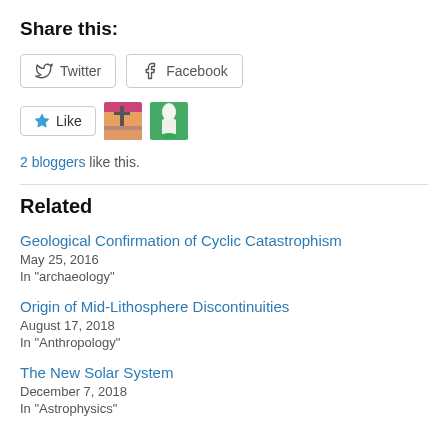Share this:
[Figure (screenshot): Social share buttons: Twitter and Facebook]
[Figure (screenshot): Like button with two blogger avatars]
2 bloggers like this.
Related
Geological Confirmation of Cyclic Catastrophism
May 25, 2016
In "archaeology"
Origin of Mid-Lithosphere Discontinuities
August 17, 2018
In "Anthropology"
The New Solar System
December 7, 2018
In "Astrophysics"